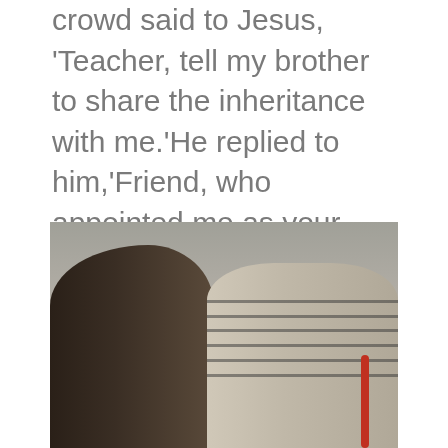crowd said to Jesus, 'Teacher, tell my brother to share the inheritance with me.'He replied to him,'Friend, who appointed me as your judge and arbitrator?'Then he said to the crowd,'Take care to guard against all greed,for though...
[Figure (photo): Two young Asian women sitting together, one with long dark hair facing right, the other in a striped shirt resting her chin on her hand. A yellow banner/sign is visible in the background.]